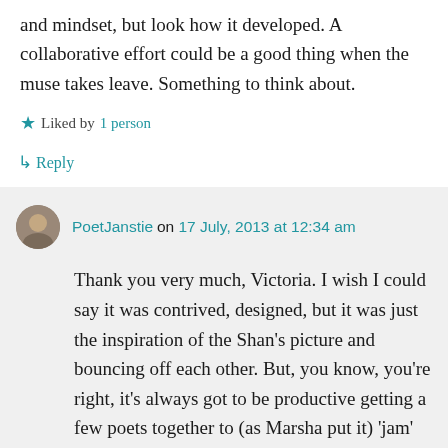and mindset, but look how it developed. A collaborative effort could be a good thing when the muse takes leave. Something to think about.
Liked by 1 person
↳ Reply
PoetJanstie on 17 July, 2013 at 12:34 am
Thank you very much, Victoria. I wish I could say it was contrived, designed, but it was just the inspiration of the Shan's picture and bouncing off each other. But, you know, you're right, it's always got to be productive getting a few poets together to (as Marsha put it) 'jam' off each other. The